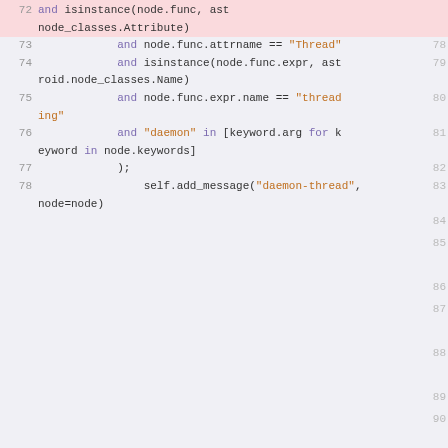[Figure (screenshot): Code editor screenshot showing Python source code lines 72-94, with line 72 highlighted in pink/red. The code contains Python syntax with keywords 'and', 'in', 'for' in purple and string literals in orange. Right-side column shows corresponding line numbers 78-94.]